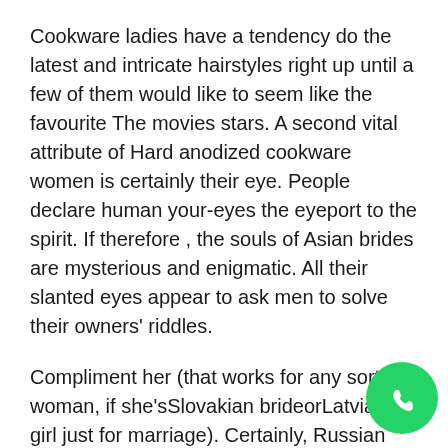Cookware ladies have a tendency do the latest and intricate hairstyles right up until a few of them would like to seem like the favourite The movies stars. A second vital attribute of Hard anodized cookware women is certainly their eye. People declare human your-eyes the eyeport to the spirit. If therefore , the souls of Asian brides are mysterious and enigmatic. All their slanted eyes appear to ask men to solve their owners' riddles.
Compliment her (that works for any sort of woman, if she'sSlovakian brideorLatvian girl just for marriage). Certainly, Russian mail-orders are homemakers, they're clever, faithful and they're basically family-oriented. However there are some extra reasons, and that we are sure that it's needed so that you can understand them. When you turn out to be a part of a reliable relationship web site with hopeful critiques, you will be dating in a secure environment. You have to be profi... of get in touch with member help 24/7 and get a speed...
[Figure (logo): WhatsApp logo button — green circle with white phone handset icon]